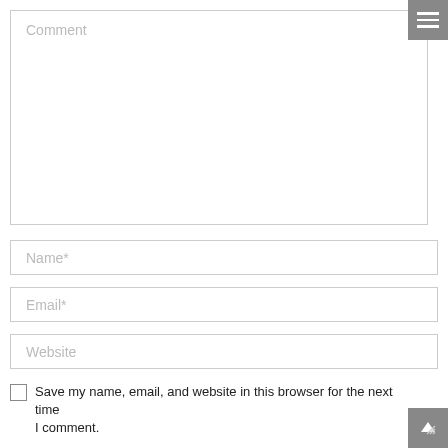[Figure (screenshot): Hamburger menu icon button (three white horizontal lines on grey background) in top-right corner]
Comment
Name*
Email*
Website
Save my name, email, and website in this browser for the next time I comment.
[Figure (screenshot): Scroll-to-top button (upward arrow on grey background) in bottom-right corner]